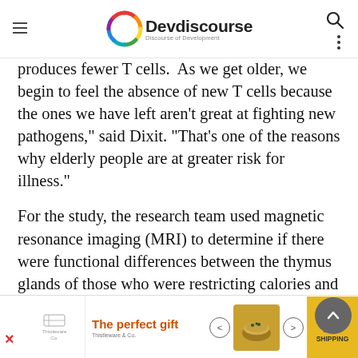Devdiscourse - Discourse of Development
produces fewer T cells.  As we get older, we begin to feel the absence of new T cells because the ones we have left aren't great at fighting new pathogens," said Dixit. "That's one of the reasons why elderly people are at greater risk for illness."
For the study, the research team used magnetic resonance imaging (MRI) to determine if there were functional differences between the thymus glands of those who were restricting calories and those who were not. They found that the thymus glands in participants with limited calorie intake had less fat and greater functional volume after two years of
[Figure (screenshot): Advertisement banner: The perfect gift, with food imagery and navigation arrows, and a FREE SHIPPING section]